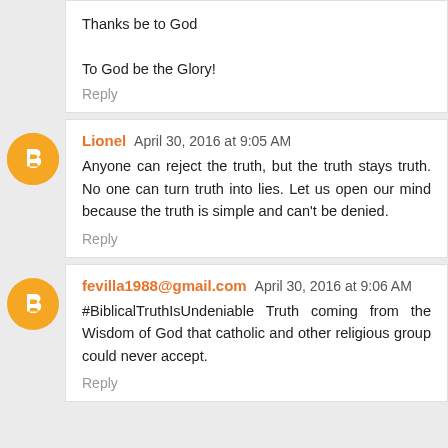Thanks be to God

To God be the Glory!
Reply
Lionel April 30, 2016 at 9:05 AM
Anyone can reject the truth, but the truth stays truth. No one can turn truth into lies. Let us open our mind because the truth is simple and can't be denied.
Reply
fevilla1988@gmail.com April 30, 2016 at 9:06 AM
#BiblicalTruthIsUndeniable Truth coming from the Wisdom of God that catholic and other religious group could never accept.
Reply